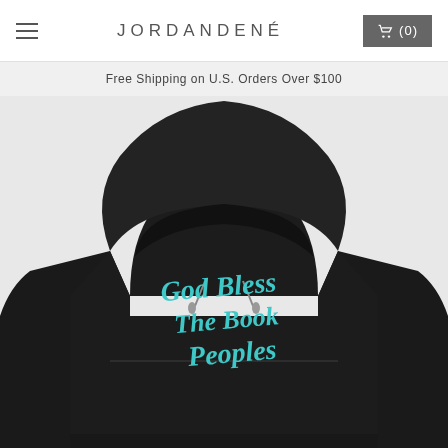JORDANDENÉ
Free Shipping on U.S. Orders Over $100
[Figure (photo): Black hoodie sweatshirt with teal/turquoise script lettering reading 'God Bless The Book Peoples' on the front chest area, displayed on a light gray background]